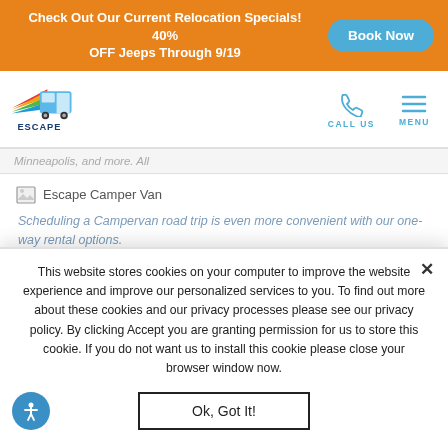Check Out Our Current Relocation Specials! 40% OFF Jeeps Through 9/19 | Book Now
[Figure (logo): Escape Campervans logo with colorful swoosh and text]
Minneapolis, and more. All
[Figure (photo): Escape Camper Van image placeholder]
Scheduling a Campervan road trip is even more convenient with our one-way rental options.
This website stores cookies on your computer to improve the website experience and improve our personalized services to you. To find out more about these cookies and our privacy processes please see our privacy policy. By clicking Accept you are granting permission for us to store this cookie. If you do not want us to install this cookie please close your browser window now.
Ok, Got It!